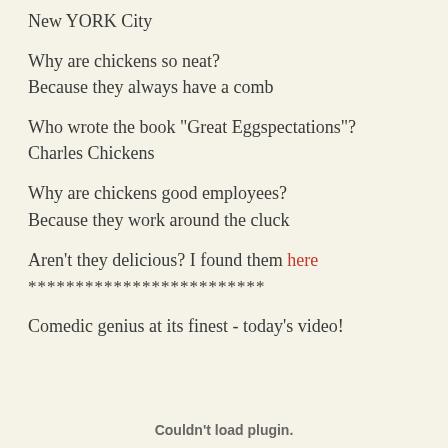New YORK City
Why are chickens so neat?
Because they always have a comb
Who wrote the book "Great Eggspectations"?
Charles Chickens
Why are chickens good employees?
Because they work around the cluck
Aren't they delicious? I found them here
*************************
Comedic genius at its finest - today's video!
Couldn't load plugin.